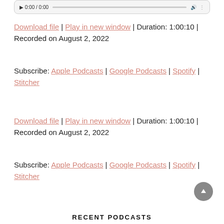[Figure (other): Audio player bar showing play button, timestamp 0:00/0:00, progress bar, volume and options icons]
Download file | Play in new window | Duration: 1:00:10 | Recorded on August 2, 2022
Subscribe: Apple Podcasts | Google Podcasts | Spotify | Stitcher
Download file | Play in new window | Duration: 1:00:10 | Recorded on August 2, 2022
Subscribe: Apple Podcasts | Google Podcasts | Spotify | Stitcher
RECENT PODCASTS